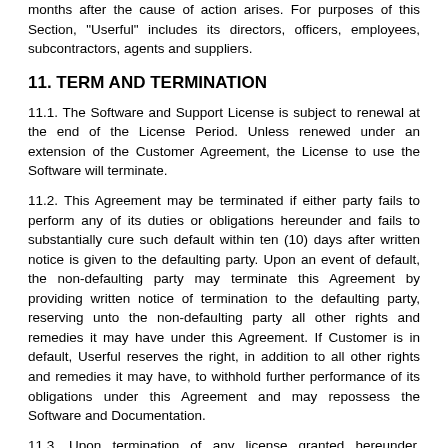months after the cause of action arises. For purposes of this Section, "Userful" includes its directors, officers, employees, subcontractors, agents and suppliers.
11. TERM AND TERMINATION
11.1. The Software and Support License is subject to renewal at the end of the License Period. Unless renewed under an extension of the Customer Agreement, the License to use the Software will terminate.
11.2. This Agreement may be terminated if either party fails to perform any of its duties or obligations hereunder and fails to substantially cure such default within ten (10) days after written notice is given to the defaulting party. Upon an event of default, the non-defaulting party may terminate this Agreement by providing written notice of termination to the defaulting party, reserving unto the non-defaulting party all other rights and remedies it may have under this Agreement. If Customer is in default, Userful reserves the right, in addition to all other rights and remedies it may have, to withhold further performance of its obligations under this Agreement and may repossess the Software and Documentation.
11.3. Upon termination of any license granted hereunder, Customer will promptly remove all Software from all memory locations, return all copies of the Software and Documentation to Userful, and execute and deliver to Userful a certificate stating that all copies of the Software have been removed and returned or destroyed.